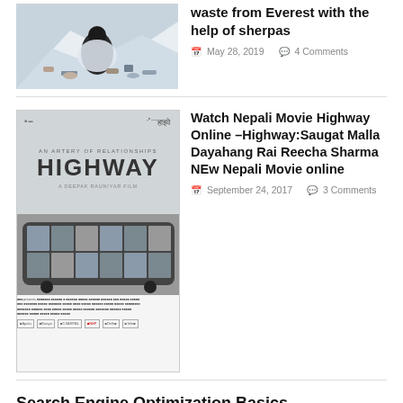[Figure (photo): Photo of a person amid garbage/waste on a snowy mountain (Everest)]
waste from Everest with the help of sherpas
May 28, 2019   4 Comments
[Figure (photo): Highway Nepali movie poster showing title HIGHWAY, subtitle AN ARTERY OF RELATIONSHIPS, A DEEPAK RAUNIYAR FILM, with Hindi text, and a collage of movie scenes on a bus-shaped graphic, plus production credits and logos]
Watch Nepali Movie Highway Online –Highway:Saugat Malla Dayahang Rai Reecha Sharma NEw Nepali Movie online
September 24, 2017   3 Comments
Search Engine Optimization Basics